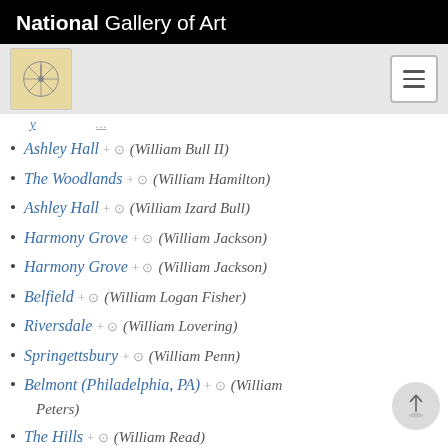National Gallery of Art
Ashley Hall (William Bull II)
The Woodlands (William Hamilton)
Ashley Hall (William Izard Bull)
Harmony Grove (William Jackson)
Harmony Grove (William Jackson)
Belfield (William Logan Fisher)
Riversdale (William Lovering)
Springettsbury (William Penn)
Belmont (Philadelphia, PA) (William Peters)
The Hills (William Read)